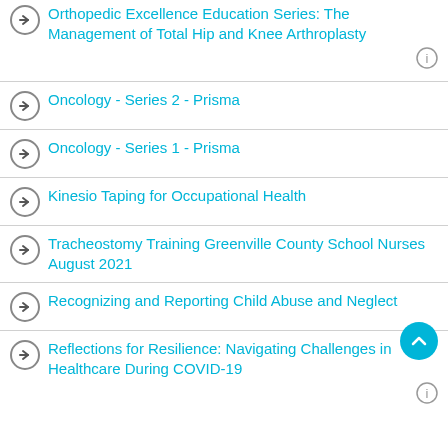Orthopedic Excellence Education Series: The Management of Total Hip and Knee Arthroplasty
Oncology - Series 2 - Prisma
Oncology - Series 1 - Prisma
Kinesio Taping for Occupational Health
Tracheostomy Training Greenville County School Nurses August 2021
Recognizing and Reporting Child Abuse and Neglect
Reflections for Resilience: Navigating Challenges in Healthcare During COVID-19